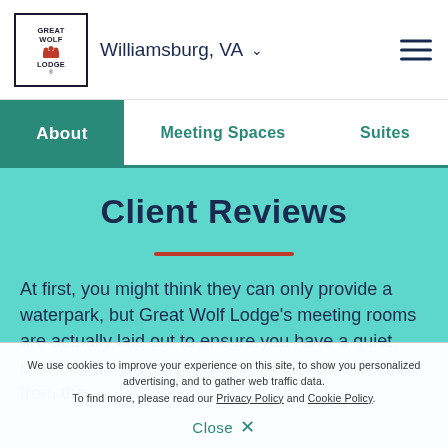Great Wolf Lodge | Williamsburg, VA
About | Meeting Spaces | Suites
Client Reviews
At first, you might think they can only provide a waterpark, but Great Wolf Lodge's meeting rooms are actually laid out to ensure you have a quiet, professional meeting and/or conference separate from the
We use cookies to improve your experience on this site, to show you personalized advertising, and to gather web traffic data. To find more, please read our Privacy Policy and Cookie Policy.
Close